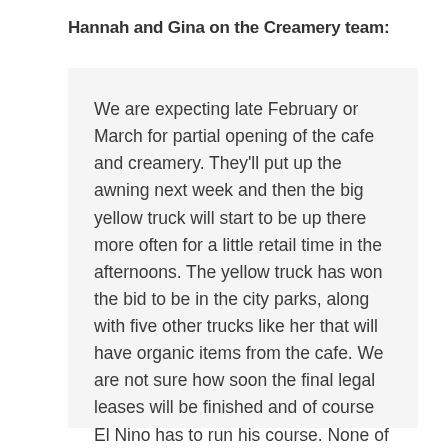Hannah and Gina on the Creamery team:
We are expecting late February or March for partial opening of the cafe and creamery. They'll put up the awning next week and then the big yellow truck will start to be up there more often for a little retail time in the afternoons. The yellow truck has won the bid to be in the city parks, along with five other trucks like her that will have organic items from the cafe. We are not sure how soon the final legal leases will be finished and of course El Nino has to run his course. None of our trucks are box trucks; all of them are open-platform diner trucks – you can see more at dinertrucks.com